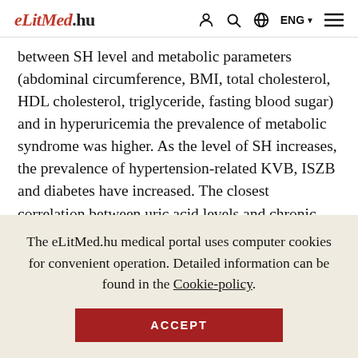eLitMed.hu  ENG
between SH level and metabolic parameters (abdominal circumference, BMI, total cholesterol, HDL cholesterol, triglyceride, fasting blood sugar) and in hyperuricemia the prevalence of metabolic syndrome was higher. As the level of SH increases, the prevalence of hypertension-related KVB, ISZB and diabetes have increased. The closest correlation between uric acid levels and chronic kidney disease was in women and between the uric acid levels and ischemic heart disease in men, ur analysis
The eLitMed.hu medical portal uses computer cookies for convenient operation. Detailed information can be found in the Cookie-policy.
ACCEPT